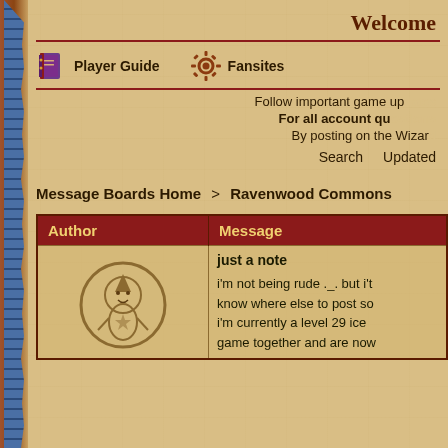Welcome
[Figure (illustration): Navigation icons: book icon for Player Guide, gear/cog icon for Fansites]
Player Guide
Fansites
Follow important game updates
For all account questions
By posting on the Wizard
Search    Updated
Message Boards Home > Ravenwood Commons
| Author | Message |
| --- | --- |
| [avatar image] | just a note
i'm not being rude ._. but i't know where else to post so i'm currently a level 29 ice game together and are now |